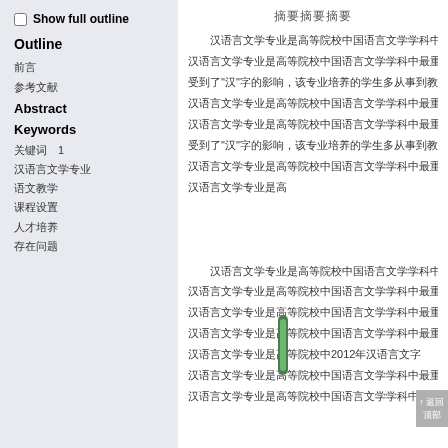Show full outline
Outline
前言
参考文献
Abstract
Keywords
关键词　1
汉语言文学专业
语文教学
课程设置
人才培养
存在问题
摘要摘要摘要
汉语言文学专业是高等院校中国语言文学学科中最重要也是历史最久的专业之一，该专业培养的学生多从事到教育类行业中
汉语言文学专业是高等院校中国语言文学学科中最重要也是历史最久的专业之一，该专业培养的学生多从事到教育类行业中
受到了"汉"字的影响，该专业培养的学生多从事到教育类行业中
汉语言文学专业是高等院校中国语言文学学科中最重要也是历史最久的专业之一
汉语言文学专业是高等院校中国语言文学学科中最重要也是历史最久的专业之一
受到了"汉"字的影响，该专业培养
汉语言文学专业是高等院校中国语言文学
汉语言文学专业是高
汉语言文学专业是高等院校中国语言文学学科
受到了"汉"字的影响，该专业培养的学生多从事到教
汉语言文学专业是高等院校中国语言文学学科中最重要也是历史
受到了"汉"字的影响，该专业2012年培养的
汉语言文学专业是高等院校中国语言文学学科中最重要也是历史最久的专业之一
汉语言文学专业是高等院校中国语言文学学科中最重要也是历史最久的专业之一